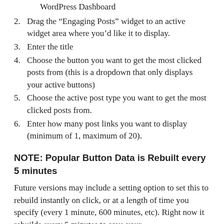WordPress Dashboard
2. Drag the “Engaging Posts” widget to an active widget area where you’d like it to display.
3. Enter the title
4. Choose the button you want to get the most clicked posts from (this is a dropdown that only displays your active buttons)
5. Choose the active post type you want to get the most clicked posts from.
6. Enter how many post links you want to display (minimum of 1, maximum of 20).
NOTE: Popular Button Data is Rebuilt every 5 minutes
Future versions may include a setting option to set this to rebuild instantly on click, or at a length of time you specify (every 1 minute, 600 minutes, etc). Right now it rebuilds every 5 minutes to save your